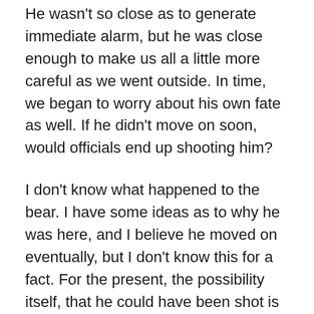He wasn't so close as to generate immediate alarm, but he was close enough to make us all a little more careful as we went outside. In time, we began to worry about his own fate as well. If he didn't move on soon, would officials end up shooting him?
I don't know what happened to the bear. I have some ideas as to why he was here, and I believe he moved on eventually, but I don't know this for a fact. For the present, the possibility itself, that he could have been shot is the interesting point. What would it mean to me, I wondered, if the bear in these pictures had been killed within days (or perhaps hours) of my taking them? It isn't simply the possibility that he might die on his own. Hell, cycles of life and all that! No, the point is that a picture of a bear that might be killed because he is close enough to take